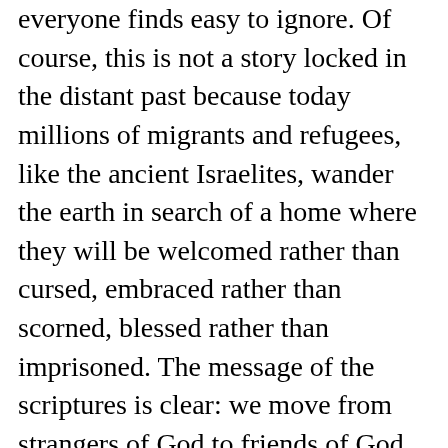everyone finds easy to ignore. Of course, this is not a story locked in the distant past because today millions of migrants and refugees, like the ancient Israelites, wander the earth in search of a home where they will be welcomed rather than cursed, embraced rather than scorned, blessed rather than imprisoned. The message of the scriptures is clear: we move from strangers of God to friends of God when we eagerly extend to them the justice, love, mercy, and compassion God wants for everyone.
A similar scene is depicted in today’s gospel from Matthew. We hear that “many people” followed Jesus “and he